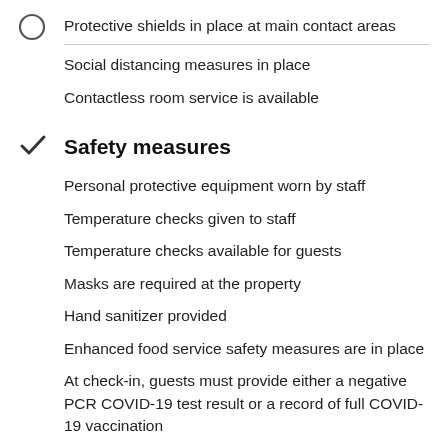Protective shields in place at main contact areas
Social distancing measures in place
Contactless room service is available
Safety measures
Personal protective equipment worn by staff
Temperature checks given to staff
Temperature checks available for guests
Masks are required at the property
Hand sanitizer provided
Enhanced food service safety measures are in place
At check-in, guests must provide either a negative PCR COVID-19 test result or a record of full COVID-19 vaccination
Negative COVID-19 test result requirement applies to all guests aged 18 and up, and test must have been administered no more than 48 hours prior to check-in; COVID-19 vaccination record requirement applies to all guests aged 18 and up; guests must have received